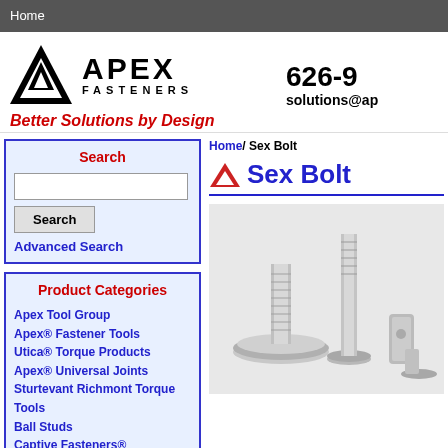Home
[Figure (logo): Apex Fasteners logo with triangle icon, company name, and tagline 'Better Solutions by Design']
626-9... solutions@ap...
Home/ Sex Bolt
Sex Bolt
Search
Advanced Search
Product Categories
Apex Tool Group
Apex® Fastener Tools
Utica® Torque Products
Apex® Universal Joints
Sturtevant Richmont Torque Tools
Ball Studs
Captive Fasteners®
Construction Fasteners
COVID-19 Fasteners
Delta PT® Screws
[Figure (photo): Photo of sex bolts / barrel bolts, silver metal fasteners with flanged heads and threaded shafts]